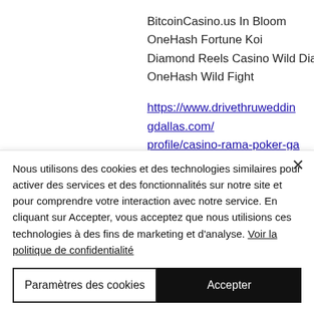BitcoinCasino.us In Bloom
OneHash Fortune Koi
Diamond Reels Casino Wild Diamond 7x
OneHash Wild Fight
https://www.drivethruweddingdallas.com/profile/casino-rama-poker-games-4853/profile https://www.akb-smooth.com/profile/big-ass-slot-machine-girl-nsfw-7125/profile https://en.bowling-saint-
Nous utilisons des cookies et des technologies similaires pour activer des services et des fonctionnalités sur notre site et pour comprendre votre interaction avec notre service. En cliquant sur Accepter, vous acceptez que nous utilisions ces technologies à des fins de marketing et d'analyse. Voir la politique de confidentialité
Paramètres des cookies
Accepter